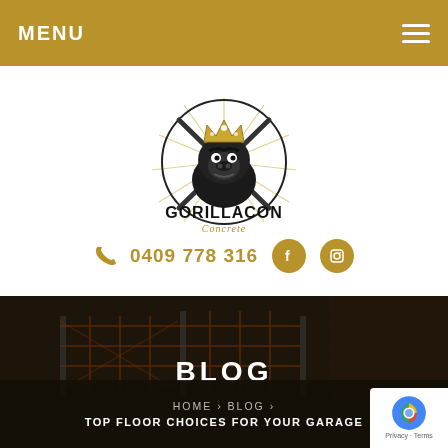MENU
[Figure (logo): Gorillacon Concrete logo with gorilla wearing a crown, text GORILLACON Concrete]
0409 778 316
BLOG
HOME › BLOG › TOP FLOOR CHOICES FOR YOUR GARAGE